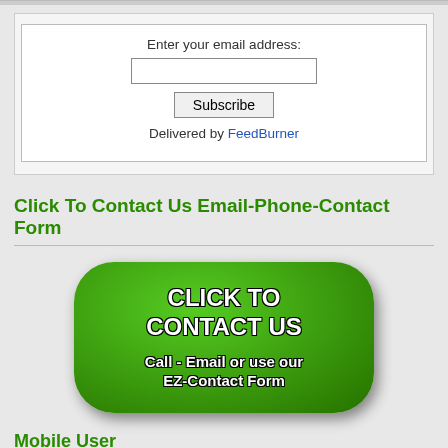Enter your email address:
Delivered by FeedBurner
Click To Contact Us Email-Phone-Contact Form
[Figure (illustration): Green rounded button with bold white text reading CLICK TO CONTACT US and subtitle Call - Email or use our EZ-Contact Form]
Mobile User